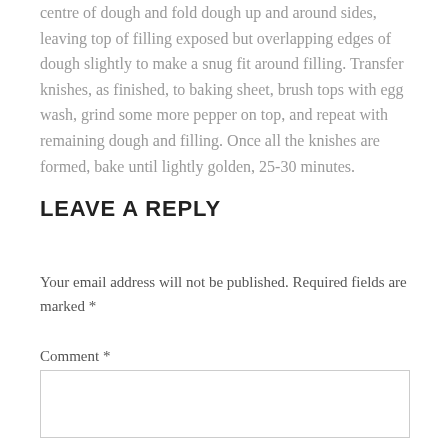centre of dough and fold dough up and around sides, leaving top of filling exposed but overlapping edges of dough slightly to make a snug fit around filling. Transfer knishes, as finished, to baking sheet, brush tops with egg wash, grind some more pepper on top, and repeat with remaining dough and filling. Once all the knishes are formed, bake until lightly golden, 25-30 minutes.
LEAVE A REPLY
Your email address will not be published. Required fields are marked *
Comment *